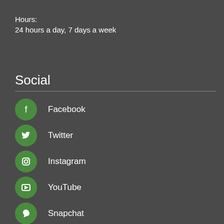Hours:
24 hours a day, 7 days a week
Social
Facebook
Twitter
Instagram
YouTube
Snapchat
Nextdoor